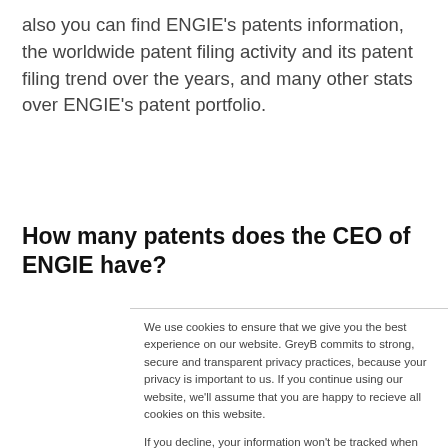also you can find ENGIE's patents information, the worldwide patent filing activity and its patent filing trend over the years, and many other stats over ENGIE's patent portfolio.
How many patents does the CEO of ENGIE have?
We use cookies to ensure that we give you the best experience on our website. GreyB commits to strong, secure and transparent privacy practices, because your privacy is important to us. If you continue using our website, we'll assume that you are happy to recieve all cookies on this website.
If you decline, your information won't be tracked when you visit this website. A single cookie will be used in your browser to remember your preference not to be tracked.